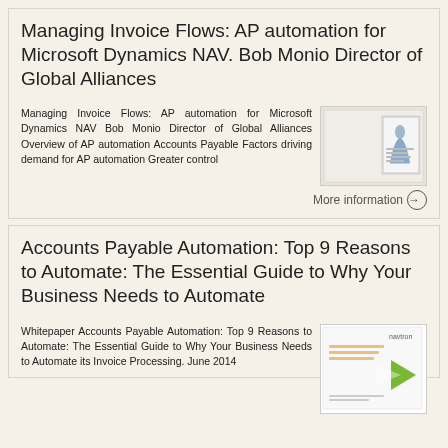Managing Invoice Flows: AP automation for Microsoft Dynamics NAV. Bob Monio Director of Global Alliances
Managing Invoice Flows: AP automation for Microsoft Dynamics NAV Bob Monio Director of Global Alliances Overview of AP automation Accounts Payable Factors driving demand for AP automation Greater control
More information →
Accounts Payable Automation: Top 9 Reasons to Automate: The Essential Guide to Why Your Business Needs to Automate
Whitepaper Accounts Payable Automation: Top 9 Reasons to Automate: The Essential Guide to Why Your Business Needs to Automate its Invoice Processing. June 2014